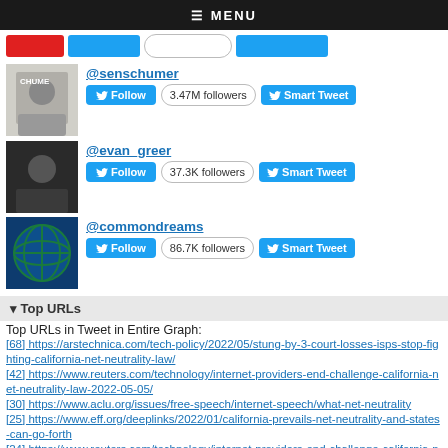≡ MENU
[Figure (screenshot): Top navigation bar buttons (red, blue, outline, blue)]
@senschumer
Follow  3.47M followers  Smart Tweet
@evan_greer
Follow  37.3K followers  Smart Tweet
@commondreams
Follow  86.7K followers  Smart Tweet
▾ Top URLs
Top URLs in Tweet in Entire Graph:
[68] https://arstechnica.com/tech-policy/2022/05/stung-by-3-court-losses-isps-stop-fighting-california-net-neutrality-law/
[42] https://www.reuters.com/technology/internet-providers-end-challenge-california-net-neutrality-law-2022-05-05/
[30] https://www.aclu.org/issues/free-speech/internet-speech/what-net-neutrality
[25] https://www.eff.org/deeplinks/2022/01/california-prevails-net-neutrality-and-states-can-go-forth
[24] https://www.reuters.com/technology/internet-providers-end-challenge-california-net-neutrality-law-2022-05-05/?taid=627357795d112f000148b81d&utm_campaign=trueAnthe